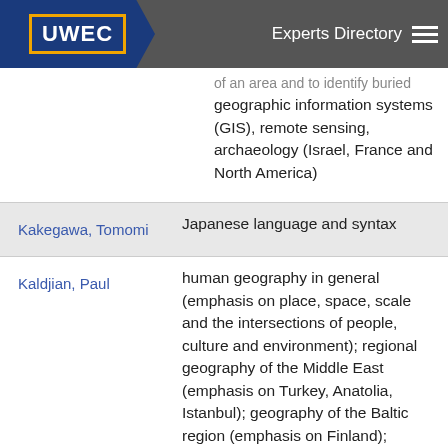UWEC | Experts Directory
| Name | Expertise |
| --- | --- |
| (continued) | of an area and to identify buried geographic information systems (GIS), remote sensing, archaeology (Israel, France and North America) |
| Kakegawa, Tomomi | Japanese language and syntax |
| Kaldjian, Paul | human geography in general (emphasis on place, space, scale and the intersections of people, culture and environment); regional geography of the Middle East (emphasis on Turkey, Anatolia, Istanbul); geography of the Baltic region (emphasis on Finland); |